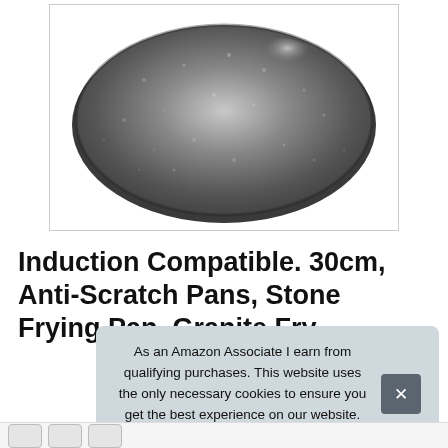[Figure (photo): A granite stone frying pan viewed from above, showing dark grey speckled non-stick surface, no handle visible, on white background inside a bordered box.]
Induction Compatible. 30cm, Anti-Scratch Pans, Stone Frying Pan, Granite Fry... Fry... Fry...
As an Amazon Associate I earn from qualifying purchases. This website uses the only necessary cookies to ensure you get the best experience on our website. More information